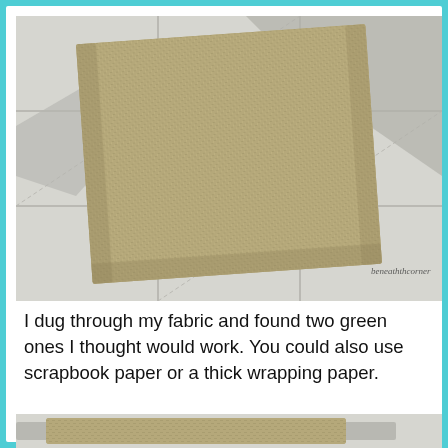[Figure (photo): A square piece of burlap/linen fabric in a tan/khaki color placed on white ceramic tiles, with a piece of gray cardboard visible in the background. Watermark text 'beneaththcorner' visible in bottom right of photo.]
I dug through my fabric and found two green ones I thought would work. You could also use scrapbook paper or a thick wrapping paper.
[Figure (photo): Partial view of the bottom of another photo showing a rolled or folded piece of tan burlap fabric and gray cardboard on white tile, cropped at the page edge.]